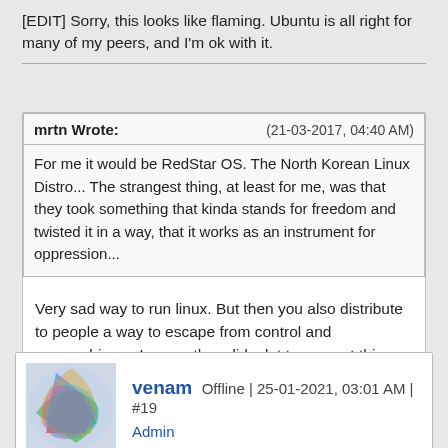[EDIT] Sorry, this looks like flaming. Ubuntu is all right for many of my peers, and I'm ok with it.
mrtn Wrote: (21-03-2017, 04:40 AM) For me it would be RedStar OS. The North Korean Linux Distro... The strangest thing, at least for me, was that they took something that kinda stands for freedom and twisted it in a way, that it works as an instrument for oppression...
Very sad way to run linux. But then you also distribute to people a way to escape from control and censorship, so I guess they did a lot to prevent this.
venam Offline | 25-01-2021, 03:01 AM | #19
Admin